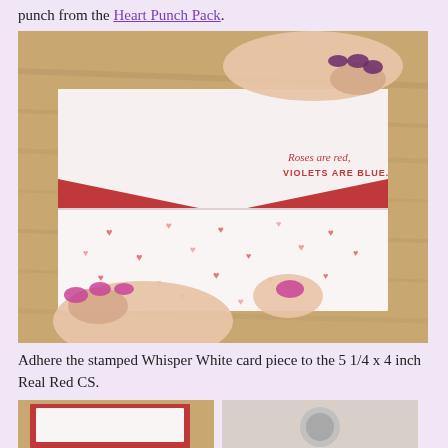punch from the Heart Punch Pack.
[Figure (photo): Hands holding an open handmade Valentine's card showing 'Roses are red, VIOLETS ARE BLUE.' stamped text and small heart stamps scattered on white card stock, with a red cardstock backing, on a wooden surface.]
Adhere the stamped Whisper White card piece to the 5 1/4 x 4 inch Real Red CS.
[Figure (photo): Bottom left partial photo of a Valentine's card project]
[Figure (photo): Bottom right partial photo of a craft supply or project]